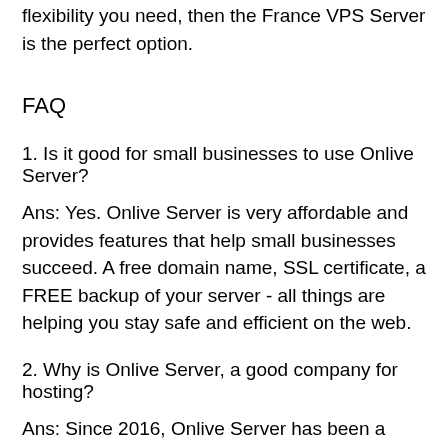flexibility you need, then the France VPS Server is the perfect option.
FAQ
1. Is it good for small businesses to use Onlive Server?
Ans: Yes. Onlive Server is very affordable and provides features that help small businesses succeed. A free domain name, SSL certificate, a FREE backup of your server - all things are helping you stay safe and efficient on the web.
2. Why is Onlive Server, a good company for hosting?
Ans: Since 2016, Onlive Server has been a trusted web hosting service, and it continues to change the way